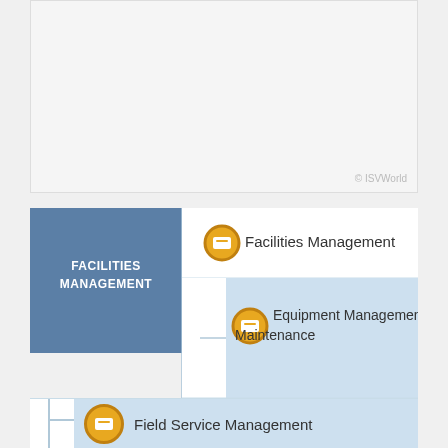[Figure (organizational-chart): Facilities Management organizational chart showing hierarchy: Facilities Management at top level, with three sub-categories: Equipment Management & Maintenance, Computerized Maintenance Management, and Field Service Management]
© ISVWorld